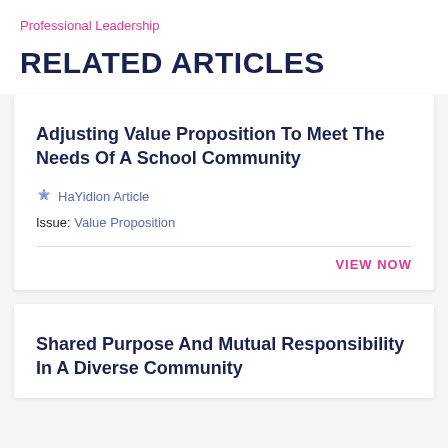Professional Leadership
RELATED ARTICLES
Adjusting Value Proposition To Meet The Needs Of A School Community
HaYidion Article
Issue: Value Proposition
VIEW NOW
Shared Purpose And Mutual Responsibility In A Diverse Community